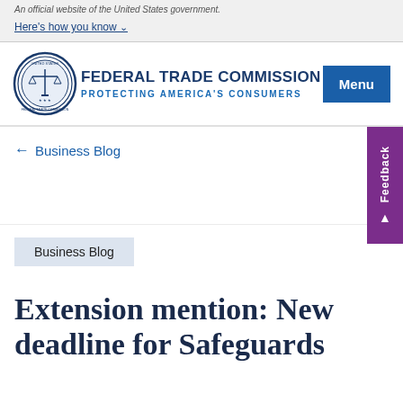An official website of the United States government. Here's how you know
[Figure (logo): Federal Trade Commission seal/logo, circular blue emblem with scales of justice]
FEDERAL TRADE COMMISSION
PROTECTING AMERICA'S CONSUMERS
Menu
← Business Blog
Feedback
Business Blog
Extension mention: New deadline for Safeguards